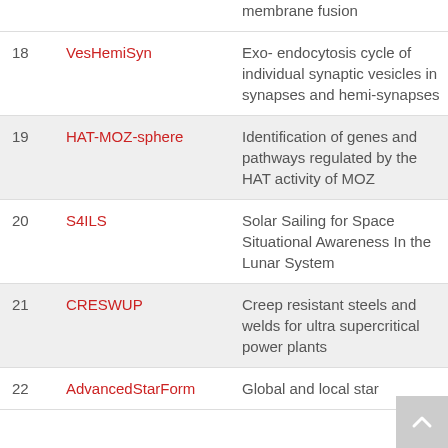| # | Acronym | Description |
| --- | --- | --- |
|  |  | membrane fusion |
| 18 | VesHemiSyn | Exo- endocytosis cycle of individual synaptic vesicles in synapses and hemi-synapses |
| 19 | HAT-MOZ-sphere | Identification of genes and pathways regulated by the HAT activity of MOZ |
| 20 | S4ILS | Solar Sailing for Space Situational Awareness In the Lunar System |
| 21 | CRESWUP | Creep resistant steels and welds for ultra supercritical power plants |
| 22 | AdvancedStarForm | Global and local star |